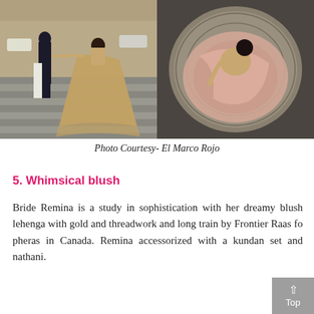[Figure (photo): Two side-by-side wedding photos. Left: A couple crossing a street, the bride wearing a flowing gold/blush lehenga. Right: An aerial view of the bride seated on a circular stone platform, her blush lehenga spread around her.]
Photo Courtesy- El Marco Rojo
5. Whimsical blush
Bride Remina is a study in sophistication with her dreamy blush lehenga with gold and threadwork and long train by Frontier Raas for pheras in Canada. Remina accessorized with a kundan set and nathani.